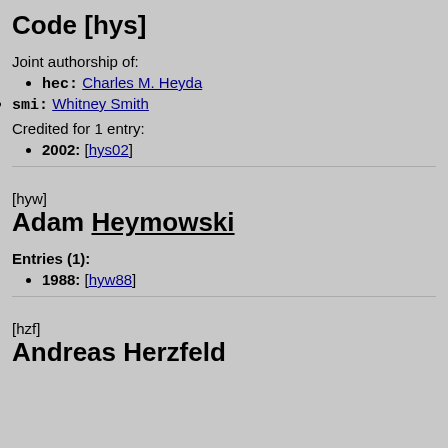Code [hys]
Joint authorship of:
hec: Charles M. Heyda
smi: Whitney Smith
Credited for 1 entry:
2002: [hys02]
[hyw]
Adam Heymowski
Entries (1):
1988: [hyw88]
[hzf]
Andreas Herzfeld